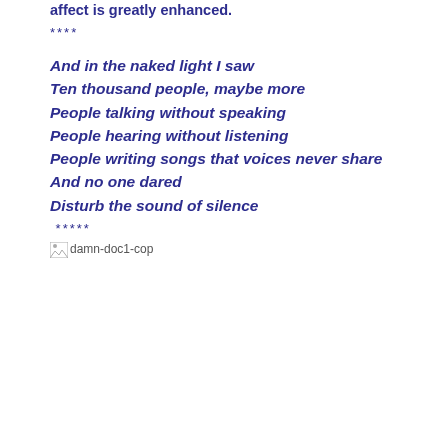affect is greatly enhanced.
****
And in the naked light I saw
Ten thousand people, maybe more
People talking without speaking
People hearing without listening
People writing songs that voices never share
And no one dared
Disturb the sound of silence
*****
[Figure (other): Broken image placeholder labeled damn-doc1-cop]